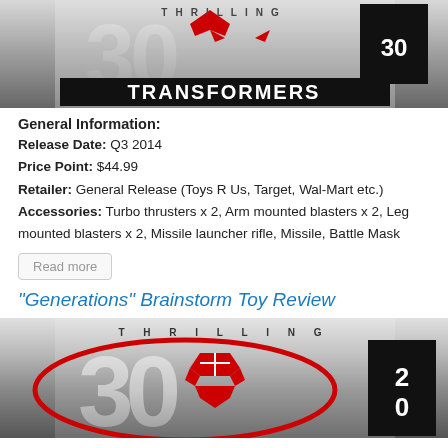[Figure (logo): Thrilling 30 Transformers logo banner at top of page]
General Information:
Release Date: Q3 2014
Price Point: $44.99
Retailer: General Release (Toys R Us, Target, Wal-Mart etc.)
Accessories: Turbo thrusters x 2, Arm mounted blasters x 2, Leg mounted blasters x 2, Missile launcher rifle, Missile, Battle Mask
Read more
"Generations" Brainstorm Toy Review
[Figure (logo): Thrilling 30 Transformers logo banner at bottom with red Autobot symbol]